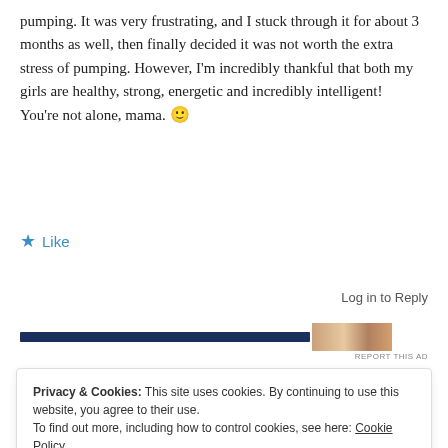pumping. It was very frustrating, and I stuck through it for about 3 months as well, then finally decided it was not worth the extra stress of pumping. However, I'm incredibly thankful that both my girls are healthy, strong, energetic and incredibly intelligent! You're not alone, mama. 🙂
★ Like
Log in to Reply
[Figure (other): Ad banner with dark blue bar and partial image]
REPORT THIS AD
Privacy & Cookies: This site uses cookies. By continuing to use this website, you agree to their use.
To find out more, including how to control cookies, see here: Cookie Policy
Close and accept